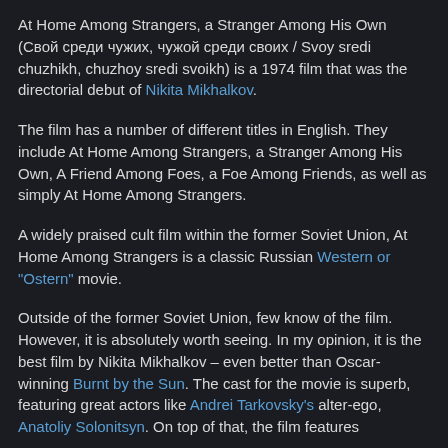At Home Among Strangers, a Stranger Among His Own (Свой среди чужих, чужой среди своих / Svoy sredi chuzhikh, chuzhoy sredi svoikh) is a 1974 film that was the directorial debut of Nikita Mikhalkov.
The film has a number of different titles in English. They include At Home Among Strangers, a Stranger Among His Own, A Friend Among Foes, a Foe Among Friends, as well as simply At Home Among Strangers.
A widely praised cult film within the former Soviet Union, At Home Among Strangers is a classic Russian Western or "Ostern" movie.
Outside of the former Soviet Union, few know of the film. However, it is absolutely worth seeing. In my opinion, it is the best film by Nikita Mikhalkov – even better than Oscar-winning Burnt by the Sun. The cast for the movie is superb, featuring great actors like Andrei Tarkovsky's alter-ego, Anatoliy Solonitsyn. On top of that, the film features